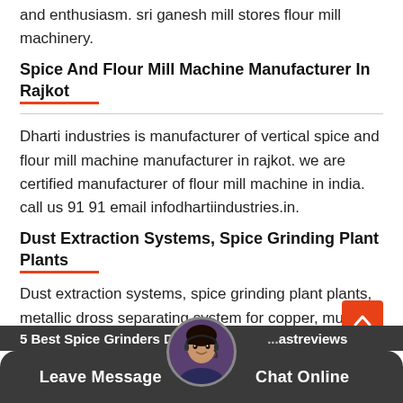and enthusiasm. sri ganesh mill stores flour mill machinery.
Spice And Flour Mill Machine Manufacturer In Rajkot
Dharti industries is manufacturer of vertical spice and flour mill machine manufacturer in rajkot. we are certified manufacturer of flour mill machine in india. call us 91 91 email infodhartiindustries.in.
Dust Extraction Systems, Spice Grinding Plant Plants
Dust extraction systems, spice grinding plant plants, metallic dross separating system for copper, mumbai, india. a pioneer in pulverizing machinery manufacturers in india for the last 53 years, was established in 1962 mumbai, where our corporate office amp.
5 Best Spice Grinders De... ...astreviews